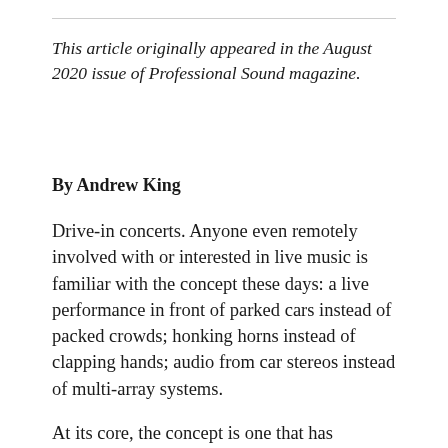This article originally appeared in the August 2020 issue of Professional Sound magazine.
By Andrew King
Drive-in concerts. Anyone even remotely involved with or interested in live music is familiar with the concept these days: a live performance in front of parked cars instead of packed crowds; honking horns instead of clapping hands; audio from car stereos instead of multi-array systems.